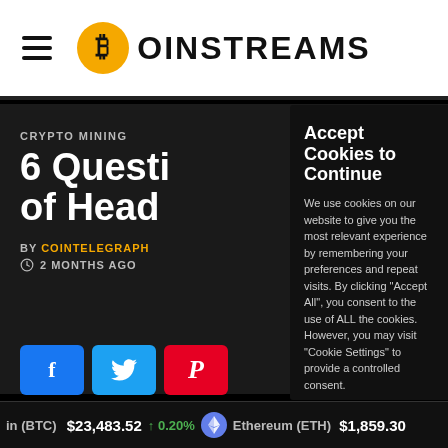COINSTREAMS
CRYPTO MINING
6 Questi of Head
BY COINTELEGRAPH
2 MONTHS AGO
Accept Cookies to Continue
We use cookies on our website to give you the most relevant experience by remembering your preferences and repeat visits. By clicking "Accept All", you consent to the use of ALL the cookies. However, you may visit "Cookie Settings" to provide a controlled consent.
Cookie Settings | Accept All
in (BTC) $23,483.52 ↑ 0.20% Ethereum (ETH) $1,859.30